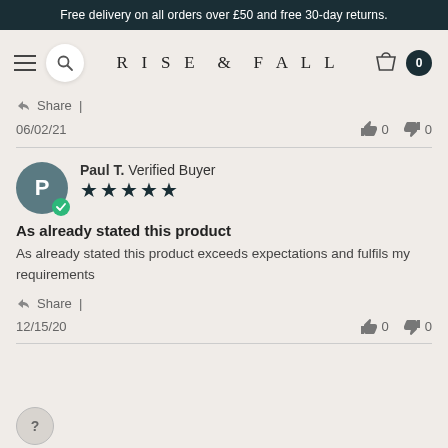Free delivery on all orders over £50 and free 30-day returns.
[Figure (logo): Rise & Fall brand navigation bar with hamburger menu, search, logo, cart and badge icons]
Share |
06/02/21   👍 0   👎 0
Paul T. Verified Buyer ★★★★★
As already stated this product
As already stated this product exceeds expectations and fulfils my requirements
Share |
12/15/20   👍 0   👎 0